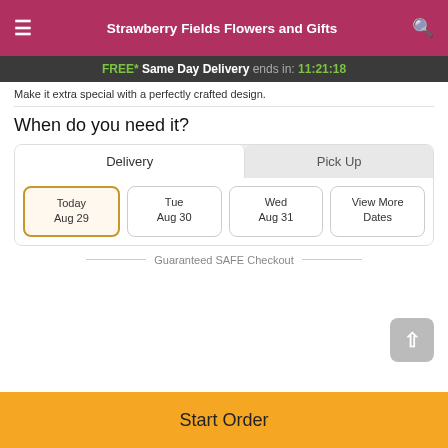Strawberry Fields Flowers and Gifts
FREE* Same Day Delivery ends in: 11:21:18
Make it extra special with a perfectly crafted design.
When do you need it?
Delivery | Pick Up
Today Aug 29 | Tue Aug 30 | Wed Aug 31 | View More Dates
Guaranteed SAFE Checkout
Start Order